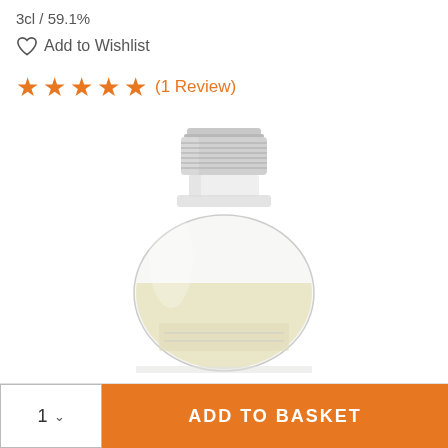3cl / 59.1%
Add to Wishlist
★★★★★ (1 Review)
[Figure (photo): Close-up of a small clear glass bottle with a silver screw cap, containing a pale yellow liquid (whisky sample). The bottle is partially cropped at the bottom, showing the rounded body and neck of a miniature spirit bottle against a white background.]
1  ADD TO BASKET